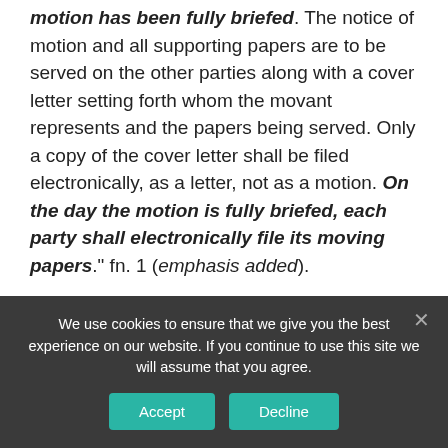motion has been fully briefed. The notice of motion and all supporting papers are to be served on the other parties along with a cover letter setting forth whom the movant represents and the papers being served. Only a copy of the cover letter shall be filed electronically, as a letter, not as a motion. On the day the motion is fully briefed, each party shall electronically file its moving papers." fn. 1 (emphasis added).
[6]< Weitzner, 2015 WL 5438804, at * 2.
[7]< Id.
We use cookies to ensure that we give you the best experience on our website. If you continue to use this site we will assume that you agree.